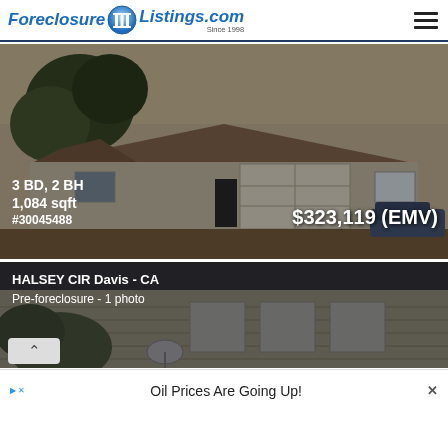ForeclosureListings.com Since 1998
[Figure (photo): Exterior photo of a single-story ranch house with a large garage door, trees in front, and a car parked to the right. Dark overlay with property details overlaid.]
3 BD, 2 BH
1,084 sqft
#30045488
$323,119 (EMV)
[Figure (photo): Partial exterior photo of a house showing siding and windows, with dark semi-transparent overlay. Address and status text overlaid.]
HALSEY CIR Davis - CA
Pre-foreclosure - 1 photo
Oil Prices Are Going Up!